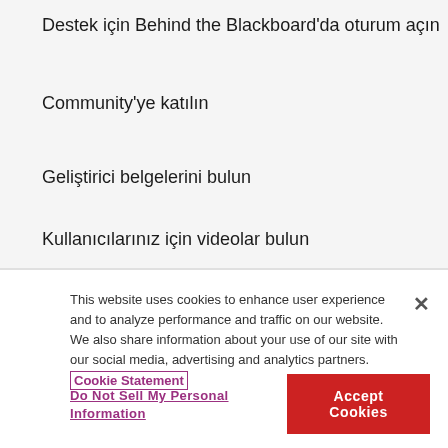Destek için Behind the Blackboard'da oturum açın
Community'ye katılın
Geliştirici belgelerini bulun
Kullanıcılarınız için videolar bulun
This website uses cookies to enhance user experience and to analyze performance and traffic on our website. We also share information about your use of our site with our social media, advertising and analytics partners. Cookie Statement
Do Not Sell My Personal Information
Accept Cookies